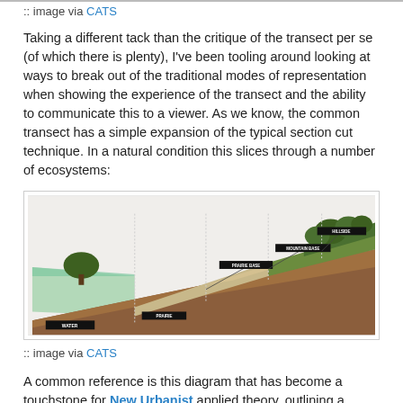:: image via CATS
Taking a different tack than the critique of the transect per se (of which there is plenty), I've been tooling around looking at ways to break out of the traditional modes of representation when showing the experience of the transect and the ability to communicate this to a viewer. As we know, the common transect has a simple expansion of the typical section cut technique. In a natural condition this slices through a number of ecosystems:
[Figure (illustration): 3D perspective diagram of a natural transect showing different ecosystems sliced through terrain, with labeled zones including wetland, prairie zone, highland zone, hillside, and ridgeline areas. The diagram shows layered cross-section of land rising from left to right with vegetation.]
:: image via CATS
A common reference is this diagram that has become a touchstone for New Urbanist applied theory, outlining a generalized zoning diagram with their associated T-zones (transect zones):